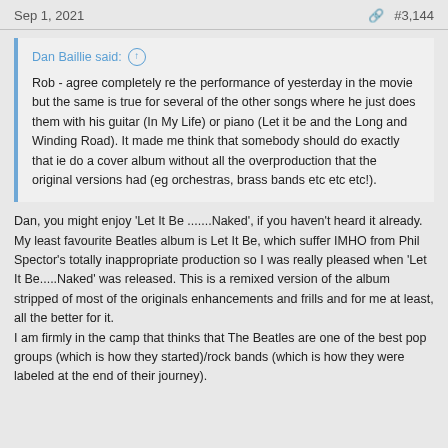Sep 1, 2021   #3,144
Dan Baillie said: Rob - agree completely re the performance of yesterday in the movie but the same is true for several of the other songs where he just does them with his guitar (In My Life) or piano (Let it be and the Long and Winding Road). It made me think that somebody should do exactly that ie do a cover album without all the overproduction that the original versions had (eg orchestras, brass bands etc etc etc!).
Dan, you might enjoy 'Let It Be .......Naked', if you haven't heard it already. My least favourite Beatles album is Let It Be, which suffer IMHO from Phil Spector's totally inappropriate production so I was really pleased when 'Let It Be.....Naked' was released. This is a remixed version of the album stripped of most of the originals enhancements and frills and for me at least, all the better for it.
I am firmly in the camp that thinks that The Beatles are one of the best pop groups (which is how they started)/rock bands (which is how they were labeled at the end of their journey).